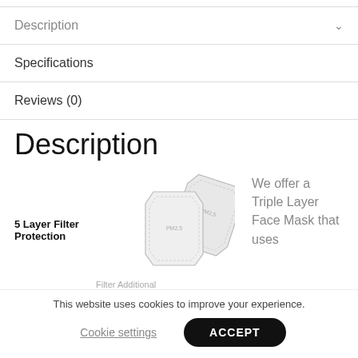Description
Specifications
Reviews (0)
Description
5 Layer Filter Protection
[Figure (photo): Two PM2.5 filter pads, pale grey, hexagonal/pentagonal shape with stitched edges and PM2.5 text printed on them]
We offer a Triple Layer Face Mask that uses
This website uses cookies to improve your experience.
Cookie settings
ACCEPT